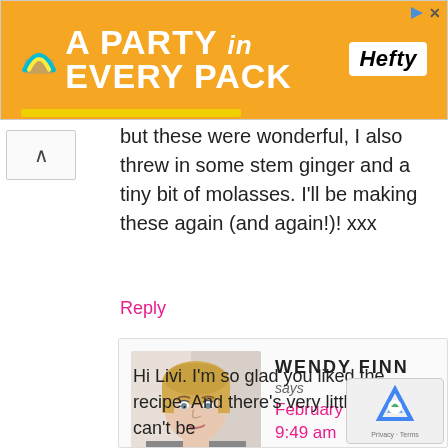[Figure (illustration): Orange Hefty ad banner reading 'A PARTY in EVERY PACK' with Hefty logo and rainbow/arc graphic]
but these were wonderful, I also threw in some stem ginger and a tiny bit of molasses. I'll be making these again (and again!)! xxx
Reply
[Figure (photo): Profile photo of Wendy Finn, a blonde woman]
WENDY FINN
says
February 25, 2021 at 9:49 am
Hi Livi. I'm so glad you liked the recipe. And there's very little that can't be